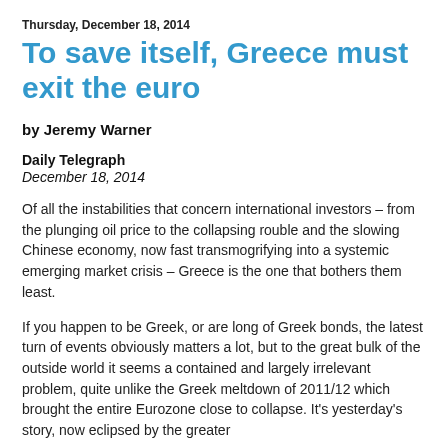Thursday, December 18, 2014
To save itself, Greece must exit the euro
by Jeremy Warner
Daily Telegraph
December 18, 2014
Of all the instabilities that concern international investors – from the plunging oil price to the collapsing rouble and the slowing Chinese economy, now fast transmogrifying into a systemic emerging market crisis – Greece is the one that bothers them least.
If you happen to be Greek, or are long of Greek bonds, the latest turn of events obviously matters a lot, but to the great bulk of the outside world it seems a contained and largely irrelevant problem, quite unlike the Greek meltdown of 2011/12 which brought the entire Eurozone close to collapse. It's yesterday's story, now eclipsed by the greater